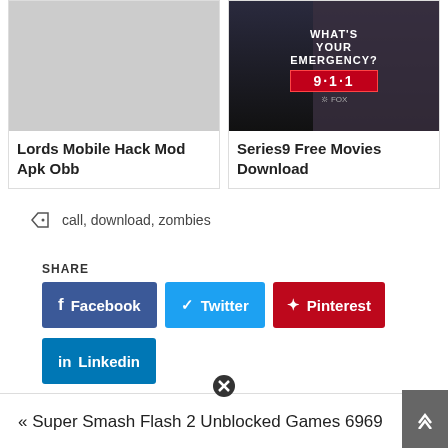[Figure (screenshot): Card thumbnail for Lords Mobile Hack Mod Apk Obb - gray placeholder image]
Lords Mobile Hack Mod Apk Obb
[Figure (screenshot): Card thumbnail for Series9 Free Movies Download - 9-1-1 TV show promotional image with text WHAT'S YOUR EMERGENCY? 9-1-1 on dark background with FOX branding]
Series9 Free Movies Download
call, download, zombies
SHARE
Facebook
Twitter
Pinterest
Linkedin
Super Smash Flash 2 Unblocked Games 6969